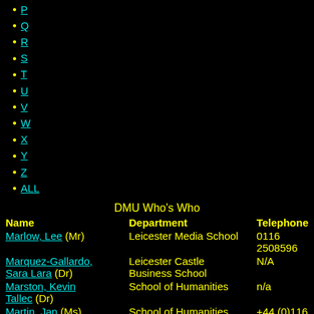P
Q
R
S
T
U
V
W
X
Y
Z
ALL
DMU Who's Who
| Name | Department | Telephone |
| --- | --- | --- |
| Marlow, Lee (Mr) | Leicester Media School | 0116 2508596 |
| Marquez-Gallardo, Sara Lara (Dr) | Leicester Castle Business School | N/A |
| Marston, Kevin Tallec (Dr) | School of Humanities | n/a |
| Martin, Jan (Ms) | School of Humanities | +44 (0)116 250 6287 |
| Martin, Naomi (Dr) | School of Allied Health Sciences | +44 (0) 116 201 3949 |
| Martinez Cardenas, (Dr) | Leicester Castle Business School | +44 (0) 116 257 7400 |